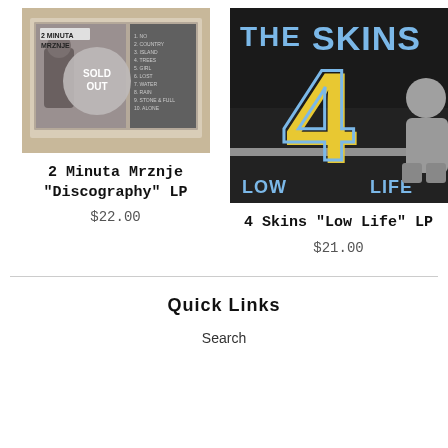[Figure (photo): Album cover for 2 Minuta Mrznje Discography LP with SOLD OUT circle overlay]
2 Minuta Mrznje "Discography" LP
$22.00
[Figure (photo): Album cover for 4 Skins Low Life LP showing the number 4 in yellow with blue outline, text THE 4 SKINS and LOW LIFE]
4 Skins "Low Life" LP
$21.00
Quick Links
Search